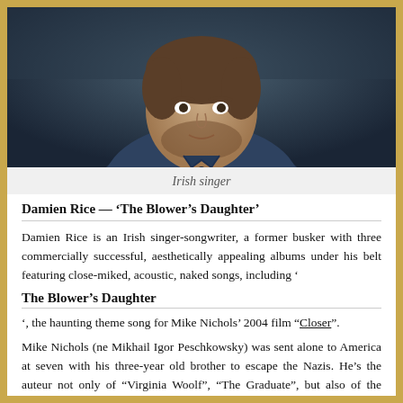[Figure (photo): Portrait photo of a man (Irish singer Damien Rice) wearing a dark blue denim shirt, with a dark blurred background]
Irish singer
Damien Rice — ‘The Blower’s Daughter’
Damien Rice is an Irish singer-songwriter, a former busker with three commercially successful, aesthetically appealing albums under his belt featuring close-miked, acoustic, naked songs, including ‘
The Blower’s Daughter
‘, the haunting theme song for Mike Nichols’ 2004 film “Closer”.
Mike Nichols (ne Mikhail Igor Peschkowsky) was sent alone to America at seven with his three-year old brother to escape the Nazis. He’s the auteur not only of “Virginia Woolf”, “The Graduate”, but also of the disquieting film “Closer” starring (and they really are all stellar), Julia Roberts, Jude Law, Clive Owens and Natalie